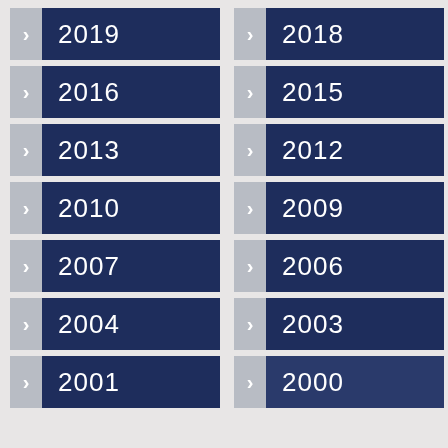2019
2018
2016
2015
2013
2012
2010
2009
2007
2006
2004
2003
2001
2000